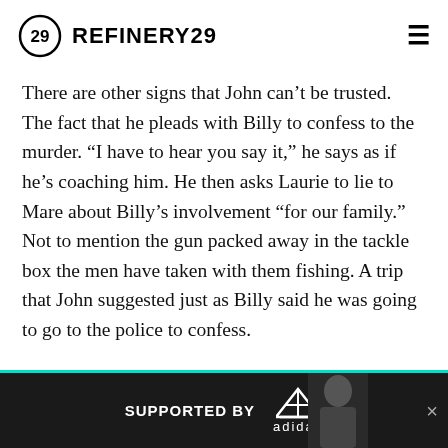REFINERY29
There are other signs that John can't be trusted. The fact that he pleads with Billy to confess to the murder. “I have to hear you say it,” he says as if he’s coaching him. He then asks Laurie to lie to Mare about Billy’s involvement “for our family.” Not to mention the gun packed away in the tackle box the men have taken with them fishing. A trip that John suggested just as Billy said he was going to go to the police to confess.
Nothing on Mare of Easttown has been cut and dry. They’ve given us red herrings (Frank as a possible suspect) and cliffhangers that force us to constantly question this town a... Eastto...
[Figure (screenshot): Advertisement banner: SUPPORTED BY adidas logo, with a person visible on right side]